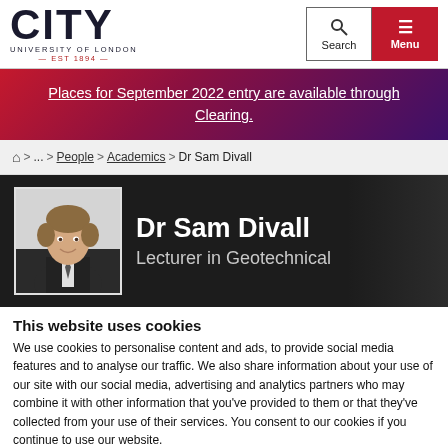[Figure (logo): City University of London logo with EST 1894 text]
Places for September 2022 entry are available through Clearing.
⌂ > ... > People > Academics > Dr Sam Divall
[Figure (photo): Profile photo of Dr Sam Divall, a man in a dark suit and tie]
Dr Sam Divall
Lecturer in Geotechnical
This website uses cookies
We use cookies to personalise content and ads, to provide social media features and to analyse our traffic. We also share information about your use of our site with our social media, advertising and analytics partners who may combine it with other information that you've provided to them or that they've collected from your use of their services. You consent to our cookies if you continue to use our website.